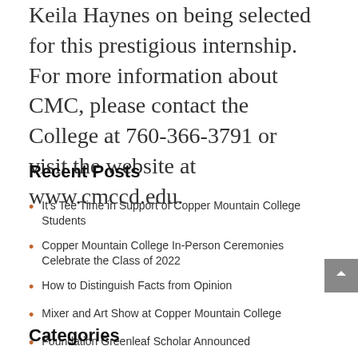Keila Haynes on being selected for this prestigious internship. For more information about CMC, please contact the College at 760-366-3791 or visit the website at www.cmccd.edu.
Recent Posts
It's Tee Time in Support of Copper Mountain College Students
Copper Mountain College In-Person Ceremonies Celebrate the Class of 2022
How to Distinguish Facts from Opinion
Mixer and Art Show at Copper Mountain College
Foundation Greenleaf Scholar Announced
Categories